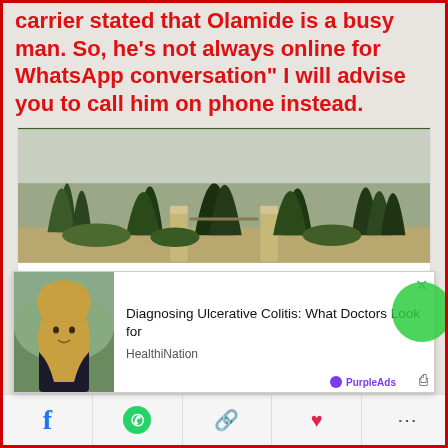carrier stated that Olamide is a busy man. So, he's not always online for WhatsApp conversation" I will advise you to call him on phone instead.
[Figure (photo): Photo of trees and a gate, accompanying an article about a 321-year-old house kept untouched for 4 decades]
[Pics] 321-Year-Old House Kept Untouched For 4 Decades, Let's Take a Look Inside
[Figure (photo): Advertisement: Woman with long hair outdoors. Diagnosing Ulcerative Colitis: What Doctors Look for. HealthiNation. PurpleAds.]